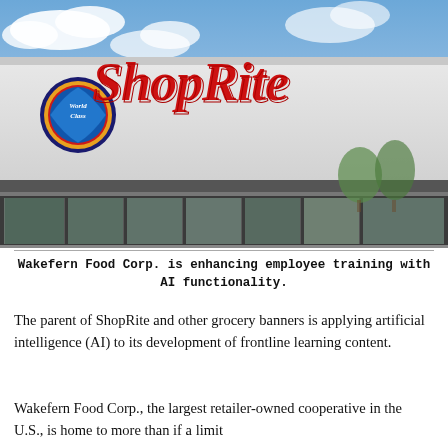[Figure (photo): Exterior photograph of a ShopRite grocery store building with large red ShopRite cursive logo and smaller 'World Class' gold logo on a white facade, with large glass windows along the storefront and a blue sky with clouds in the background.]
Wakefern Food Corp. is enhancing employee training with AI functionality.
The parent of ShopRite and other grocery banners is applying artificial intelligence (AI) to its development of frontline learning content.
Wakefern Food Corp., the largest retailer-owned cooperative in the U.S., is home to more than if a limit...